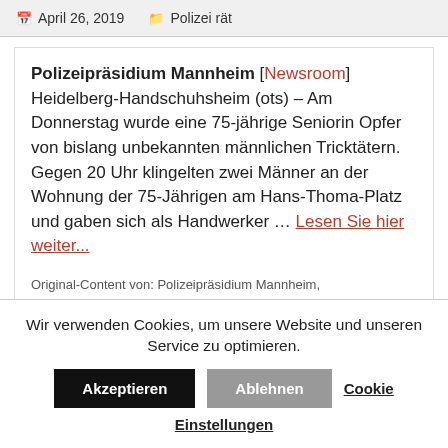April 26, 2019   Polizei rät
Polizeipräsidium Mannheim [Newsroom] Heidelberg-Handschuhsheim (ots) – Am Donnerstag wurde eine 75-jährige Seniorin Opfer von bislang unbekannten männlichen Tricktätern. Gegen 20 Uhr klingelten zwei Männer an der Wohnung der 75-Jährigen am Hans-Thoma-Platz und gaben sich als Handwerker … Lesen Sie hier weiter...
Original-Content von: Polizeipräsidium Mannheim,
Wir verwenden Cookies, um unsere Website und unseren Service zu optimieren. Akzeptieren Ablehnen Cookie Einstellungen